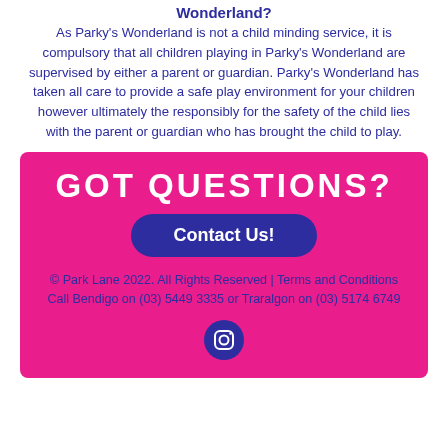Wonderland?
As Parky's Wonderland is not a child minding service, it is compulsory that all children playing in Parky's Wonderland are supervised by either a parent or guardian. Parky's Wonderland has taken all care to provide a safe play environment for your children however ultimately the responsibly for the safety of the child lies with the parent or guardian who has brought the child to play.
GOT QUESTIONS?
Contact Us!
© Park Lane 2022. All Rights Reserved | Terms and Conditions
Call Bendigo on (03) 5449 3335 or Traralgon on (03) 5174 6749
[Figure (logo): Instagram icon circle]